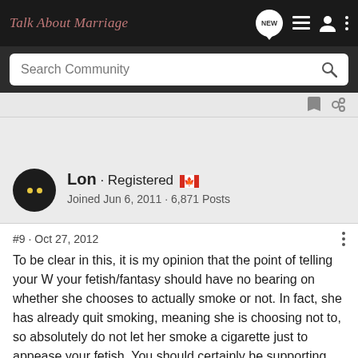Talk About Marriage
Search Community
Lon · Registered 🍁
Joined Jun 6, 2011 · 6,871 Posts
#9 · Oct 27, 2012
To be clear in this, it is my opinion that the point of telling your W your fetish/fantasy should have no bearing on whether she chooses to actually smoke or not. In fact, she has already quit smoking, meaning she is choosing not to, so absolutely do not let her smoke a cigarette just to appease your fetish. You should certainly be supporting her in her efforts to stay quit smoking, it is an unhealthy and addictive thing to do.